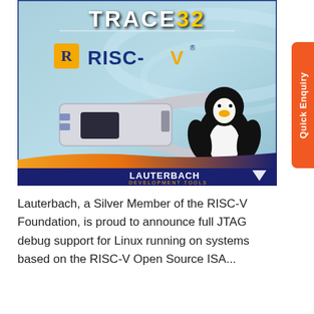[Figure (illustration): Lauterbach TRACE32 RISC-V product image. Shows the TRACE32 logo at top, RISC-V logo with blue/yellow branding, a hardware debug probe/JTAG device with cable, the Linux Tux penguin mascot, and Lauterbach Development Tools branding at the bottom on a blue gradient background.]
[Figure (other): Orange Quick Enquiry vertical button tab on the right side]
Lauterbach, a Silver Member of the RISC-V Foundation, is proud to announce full JTAG debug support for Linux running on systems based on the RISC-V Open Source ISA...